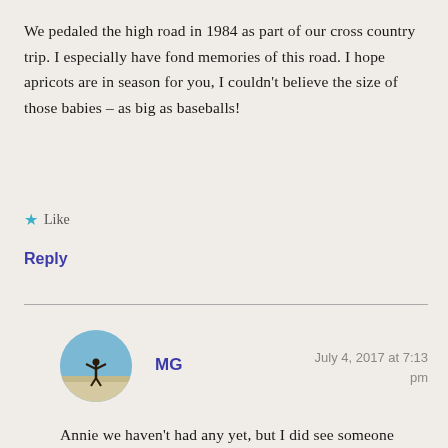We pedaled the high road in 1984 as part of our cross country trip. I especially have fond memories of this road. I hope apricots are in season for you, I couldn't believe the size of those babies – as big as baseballs!
★ Like
Reply
MG
July 4, 2017 at 7:13 pm
Annie we haven't had any yet, but I did see someone